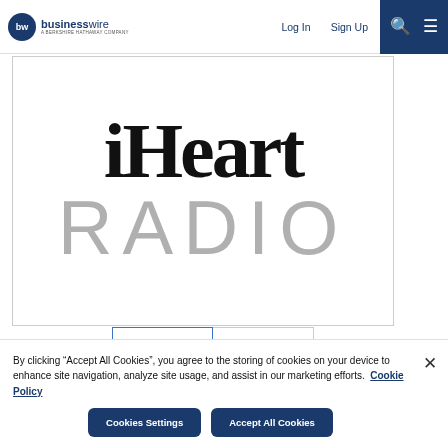businesswire — A BERKSHIRE HATHAWAY COMPANY | Log In | Sign Up
[Figure (logo): iHeartRadio logo — large text 'iHeart' in bold black serif font and 'RADIO' in large grey sans-serif letters on white background]
[Figure (logo): iHeartRadio icon tile showing red heart with radio waves above, text 'iHeart RADIO' below, bordered in blue]
[Figure (logo): FirstNet Built with AT&T logo tile — three horizontal lines beside FIRSTNET. text with 'Built with AT&T' subtitle]
By clicking “Accept All Cookies”, you agree to the storing of cookies on your device to enhance site navigation, analyze site usage, and assist in our marketing efforts.  Cookie Policy
Cookies Settings
Accept All Cookies